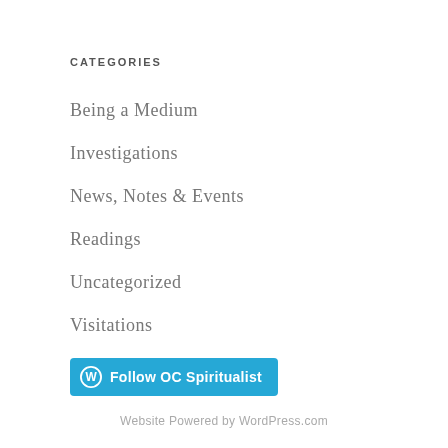CATEGORIES
Being a Medium
Investigations
News, Notes & Events
Readings
Uncategorized
Visitations
[Figure (other): Follow OC Spiritualist button with WordPress icon]
Website Powered by WordPress.com